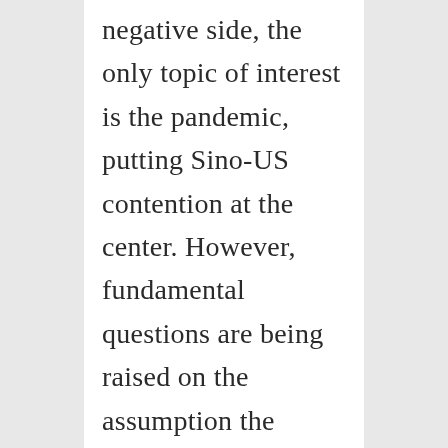negative side, the only topic of interest is the pandemic, putting Sino-US contention at the center. However, fundamental questions are being raised on the assumption the world is approaching a tectonic transformation beyond anything seen since the end of WWII and its early aftermath. Providing some continuity is the idea